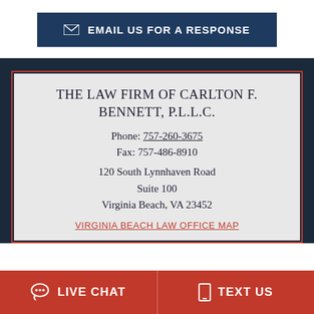[Figure (infographic): Email Us For A Response button with envelope icon on dark navy background]
THE LAW FIRM OF CARLTON F. BENNETT, P.L.L.C.
Phone: 757-260-3675
Fax: 757-486-8910
120 South Lynnhaven Road
Suite 100
Virginia Beach, VA 23452
VIRGINIA BEACH LAW OFFICE MAP
LIVE CHAT   TEXT US